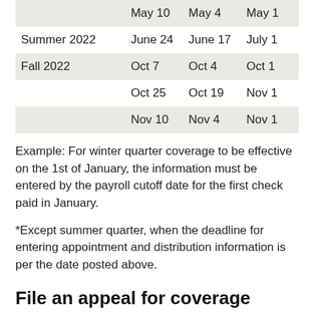|  | May 10 | May 4 | May 1 |
| --- | --- | --- | --- |
|  | May 10 | May 4 | May 1 |
| Summer 2022 | June 24 | June 17 | July 1 |
| Fall 2022 | Oct 7 | Oct 4 | Oct 1 |
|  | Oct 25 | Oct 19 | Nov 1 |
|  | Nov 10 | Nov 4 | Nov 1 |
Example: For winter quarter coverage to be effective on the 1st of January, the information must be entered by the payroll cutoff date for the first check paid in January.
*Except summer quarter, when the deadline for entering appointment and distribution information is per the date posted above.
File an appeal for coverage
If a position is not eligible for benefits because of the